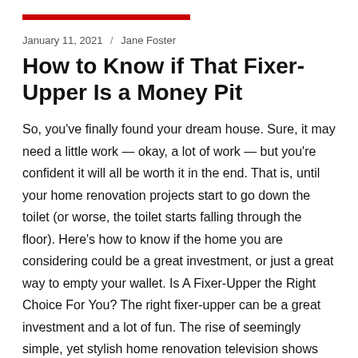January 11, 2021  /  Jane Foster
How to Know if That Fixer-Upper Is a Money Pit
So, you’ve finally found your dream house. Sure, it may need a little work — okay, a lot of work — but you’re confident it will all be worth it in the end. That is, until your home renovation projects start to go down the toilet (or worse, the toilet starts falling through the floor). Here’s how to know if the home you are considering could be a great investment, or just a great way to empty your wallet. Is A Fixer-Upper the Right Choice For You? The right fixer-upper can be a great investment and a lot of fun. The rise of seemingly simple, yet stylish home renovation television shows has made many